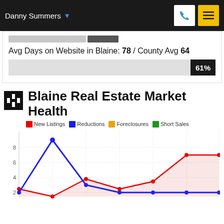Danny Summers
Avg Days on Website in Blaine: 78 / County Avg 64
61%
Blaine Real Estate Market Health
New Listings  Reductions  Foreclosures  Short Sales
[Figure (line-chart): Line chart showing New Listings (red), Reductions (blue), Foreclosures (orange), Short Sales (green) over time. Y-axis shows values from 2 to 8. Red line rises from ~2.5 to ~7, blue line peaks at ~9 then drops to ~2, orange and green lines near 0.]